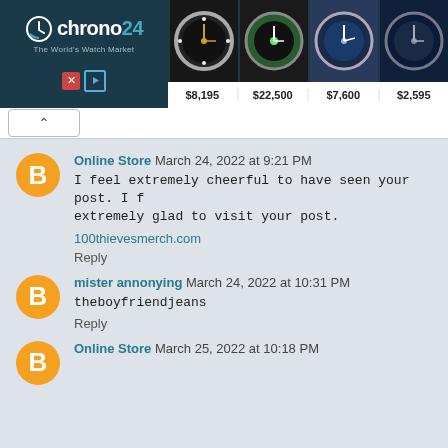[Figure (screenshot): Chrono24 advertisement banner showing luxury watch marketplace with logo and four watch images priced at $8,195, $22,500, $7,600, $2,595]
Online Store  March 24, 2022 at 9:21 PM
I feel extremely cheerful to have seen your post. I f extremely glad to visit your post.
100thievesmerch.com
Reply
mister annonying  March 24, 2022 at 10:31 PM
theboyfriendjeans
Reply
Online Store  March 25, 2022 at 10:18 PM